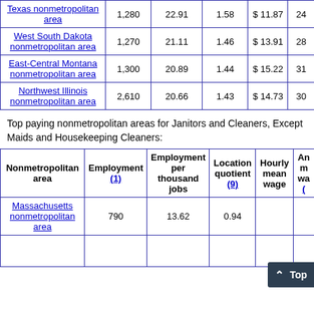| Nonmetropolitan area | Employment (1) | Employment per thousand jobs | Location quotient (9) | Hourly mean wage | An m wa |
| --- | --- | --- | --- | --- | --- |
| Texas nonmetropolitan area | 1,280 | 22.91 | 1.58 | $11.87 | 24 |
| West South Dakota nonmetropolitan area | 1,270 | 21.11 | 1.46 | $13.91 | 28 |
| East-Central Montana nonmetropolitan area | 1,300 | 20.89 | 1.44 | $15.22 | 31 |
| Northwest Illinois nonmetropolitan area | 2,610 | 20.66 | 1.43 | $14.73 | 30 |
Top paying nonmetropolitan areas for Janitors and Cleaners, Except Maids and Housekeeping Cleaners:
| Nonmetropolitan area | Employment (1) | Employment per thousand jobs | Location quotient (9) | Hourly mean wage | An m wa |
| --- | --- | --- | --- | --- | --- |
| Massachusetts nonmetropolitan area | 790 | 13.62 | 0.94 |  |  |